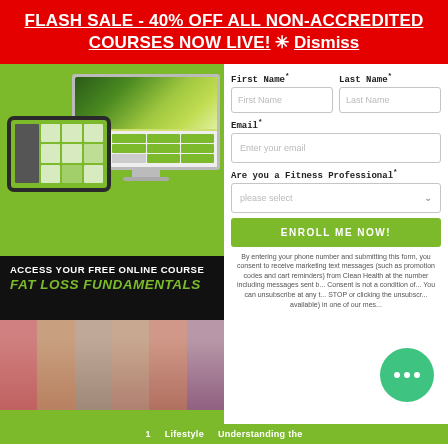FLASH SALE - 40% OFF ALL NON-ACCREDITED COURSES NOW LIVE! ✳ Dismiss
[Figure (illustration): Screenshot of a monitor and tablet displaying a course interface with green background and food bowl image, below which is a black bar reading ACCESS YOUR FREE ONLINE COURSE FAT LOSS FUNDAMENTALS, followed by a strip of people in fitness/before-after poses]
First Name* Last Name* Email* Are you a Fitness Professional*
ENROLL ME NOW!
By entering your phone number and submitting this form, you consent to receive marketing text messages (such as promotion codes and cart reminders) from Clean Health at the number including messages sent b... Consent is not a condition of... You can unsubscribe at any t... STOP or clicking the unsubscr... available) in one of our mes...
1 ... Lifestyle Understanding the